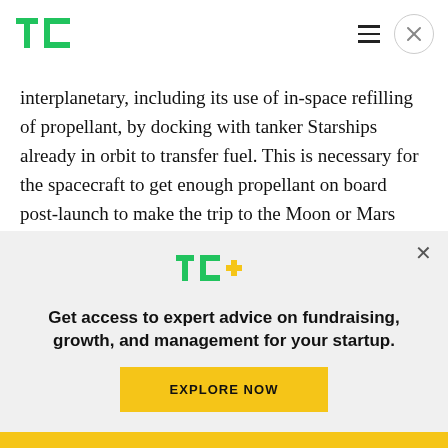TechCrunch logo and navigation
interplanetary, including its use of in-space refilling of propellant, by docking with tanker Starships already in orbit to transfer fuel. This is necessary for the spacecraft to get enough propellant on board post-launch to make the trip to the Moon or Mars from Earth – especially since it'll be carrying as much as 100 tons of cargo on board to deliver to
[Figure (logo): TechCrunch TC+ logo in green with gold plus sign]
Get access to expert advice on fundraising, growth, and management for your startup.
EXPLORE NOW